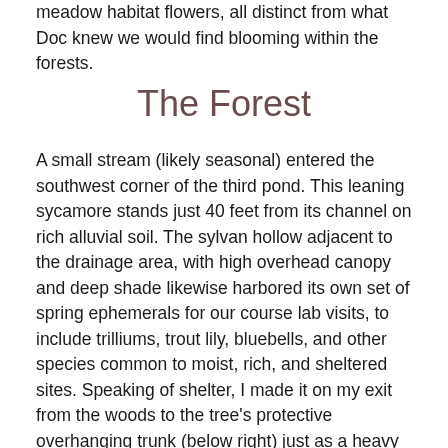meadow habitat flowers, all distinct from what Doc knew we would find blooming within the forests.
The Forest
A small stream (likely seasonal) entered the southwest corner of the third pond. This leaning sycamore stands just 40 feet from its channel on rich alluvial soil. The sylvan hollow adjacent to the drainage area, with high overhead canopy and deep shade likewise harbored its own set of spring ephemerals for our course lab visits, to include trilliums, trout lily, bluebells, and other species common to moist, rich, and sheltered sites. Speaking of shelter, I made it on my exit from the woods to the tree's protective overhanging trunk (below right) just as a heavy shower arrived. I enjoyed the rain-show there